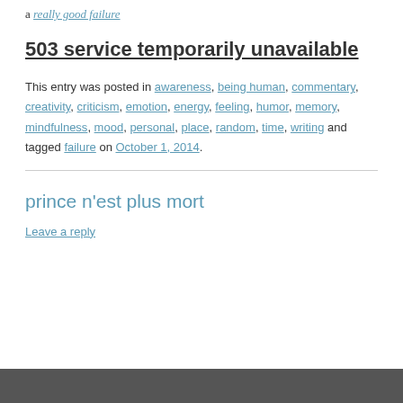a really good failure
503 service temporarily unavailable
This entry was posted in awareness, being human, commentary, creativity, criticism, emotion, energy, feeling, humor, memory, mindfulness, mood, personal, place, random, time, writing and tagged failure on October 1, 2014.
prince n’est plus mort
Leave a reply
[Figure (photo): Bottom portion of a photograph, partially visible at the bottom of the page]